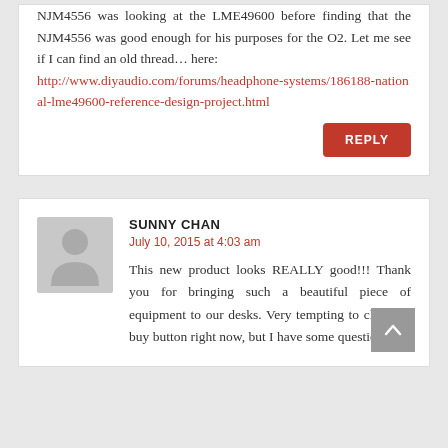NM4556 was looking at the LME49600 before finding that the NJM4556 was good enough for his purposes for the O2. Let me see if I can find an old thread… here: http://www.diyaudio.com/forums/headphone-systems/186188-national-lme49600-reference-design-project.html
REPLY
SUNNY CHAN
July 10, 2015 at 4:03 am
This new product looks REALLY good!!! Thank you for bringing such a beautiful piece of equipment to our desks. Very tempting to click the buy button right now, but I have some questions.